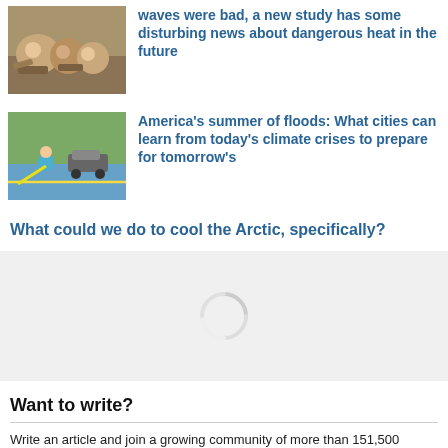[Figure (photo): People sitting outdoors, possibly in a hot climate with a fan]
waves were bad, a new study has some disturbing news about dangerous heat in the future
[Figure (photo): Man wading through floodwater pulling something, with a car in background]
America's summer of floods: What cities can learn from today's climate crises to prepare for tomorrow's
What could we do to cool the Arctic, specifically?
[Figure (other): Loading spinner on grey background]
Want to write?
Write an article and join a growing community of more than 151,500